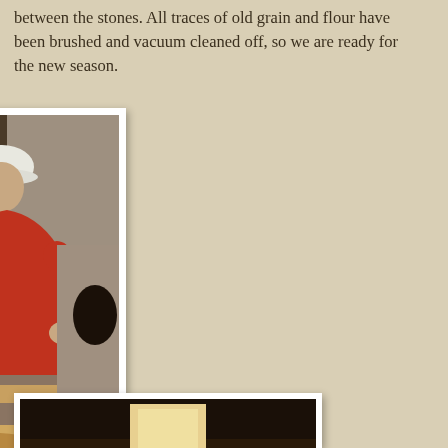between the stones. All traces of old grain and flour have been brushed and vacuum cleaned off, so we are ready for the new season.
[Figure (photo): Person wearing a white hard hat and red jacket leaning over and working on wooden mill stone furniture framework inside a stone building. Metal chains hang in the background.]
Reassembling the stone furniture
[Figure (photo): Dark interior of a mill or stone building with a bright rectangular light visible, partially shown at the bottom of the page.]